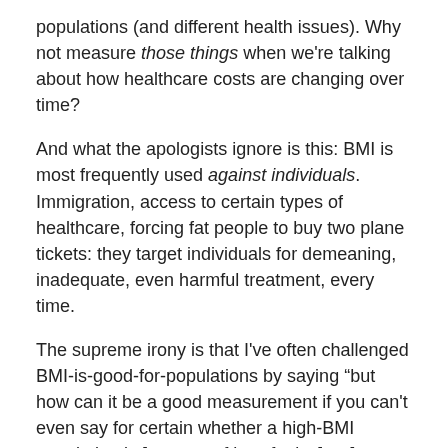populations (and different health issues). Why not measure those things when we're talking about how healthcare costs are changing over time?
And what the apologists ignore is this: BMI is most frequently used against individuals. Immigration, access to certain types of healthcare, forcing fat people to buy two plane tickets: they target individuals for demeaning, inadequate, even harmful treatment, every time.
The supreme irony is that I've often challenged BMI-is-good-for-populations by saying “but how can it be a good measurement if you can't even say for certain whether a high-BMI population is [a group of lazy fatties] or [a group of weightlifters]?"
And there is sneering and eye-rolling about how unlikely it is that NZ's population-wide BMI is going up because of an increase in weightlifting...